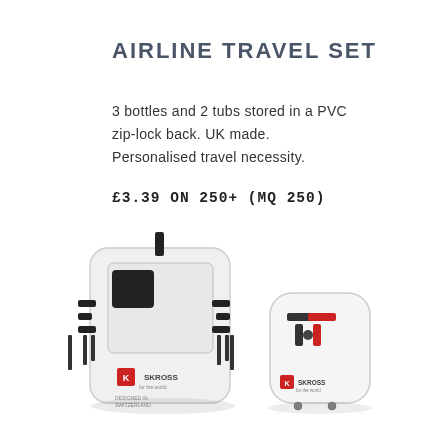AIRLINE TRAVEL SET
3 bottles and 2 tubs stored in a PVC zip-lock back. UK made. Personalised travel necessity.
£3.39 ON 250+ (MQ 250)
[Figure (photo): Two SKROSS brand universal travel adapters: one large multi-plug adapter with multiple prong attachments and a black square USB port panel with SKROSS logo and 'DESIGNED IN SWITZERLAND' text, and one smaller compact adapter with red and black socket pattern and SKROSS logo, both in white.]